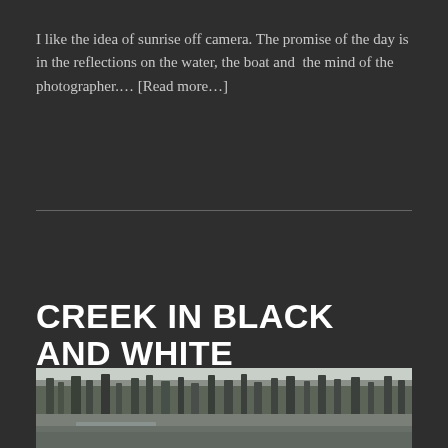I like the idea of sunrise off camera. The promise of the day is in the reflections on the water, the boat and the mind of the photographer…. [Read more…]
CREEK IN BLACK AND WHITE
[Figure (photo): Black and white photograph of a creek scene with trees and forest in the background, open field/grassland in the foreground]